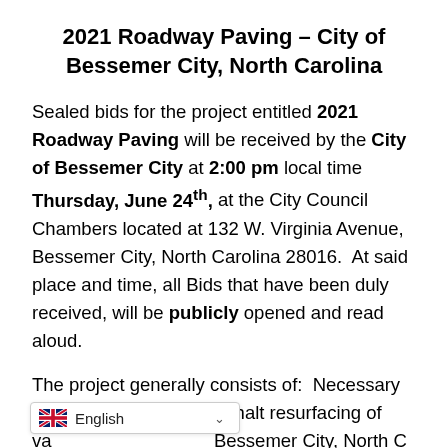2021 Roadway Paving – City of Bessemer City, North Carolina
Sealed bids for the project entitled 2021 Roadway Paving will be received by the City of Bessemer City at 2:00 pm local time Thursday, June 24th, at the City Council Chambers located at 132 W. Virginia Avenue, Bessemer City, North Carolina 28016.  At said place and time, all Bids that have been duly received, will be publicly opened and read aloud.
The project generally consists of:  Necessary roadway repairs and asphalt resurfacing of various City streets in Bessemer City, North C...